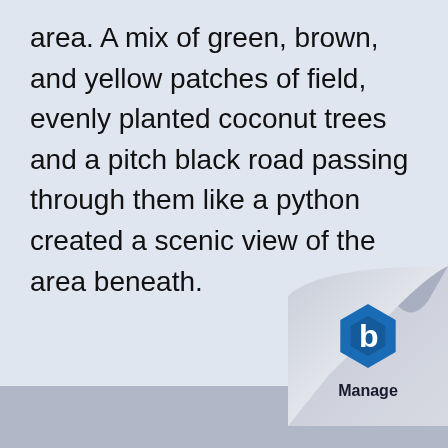area. A mix of green, brown, and yellow patches of field, evenly planted coconut trees and a pitch black road passing through them like a python created a scenic view of the area beneath.
[Figure (logo): Page curl in bottom-right corner with a blue hexagonal 'b' logo and the word 'Manage' below it]